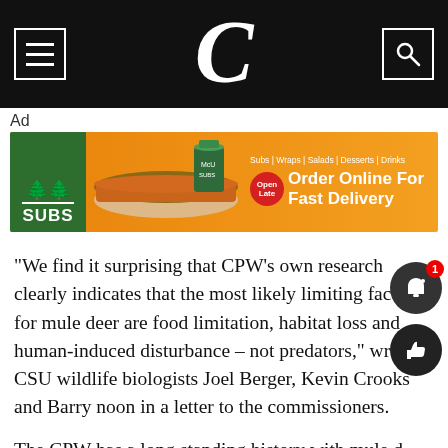C (newspaper logo header with menu and search icons)
Ad
[Figure (other): Advertisement banner for a submarine sandwich restaurant showing food images, green logo box with SUBS text, menu items listed (Subs, Wraps, Salads, Desserts, Drinks), Open Late badge, and Order Online For Fast Delivery text on orange background]
“We find it surprising that CPW’s own research clearly indicates that the most likely limiting factors for mule deer are food limitation, habitat loss and human-induced disturbance – not predators,” wrote CSU wildlife biologists Joel Berger, Kevin Crooks and Barry noon in a letter to the commissioners.
The CPW has a long standing history with mule d… study and preservation. A history that, according… their website, dates back to the agency’s roots.
According to the CPW, the plan that they have put…